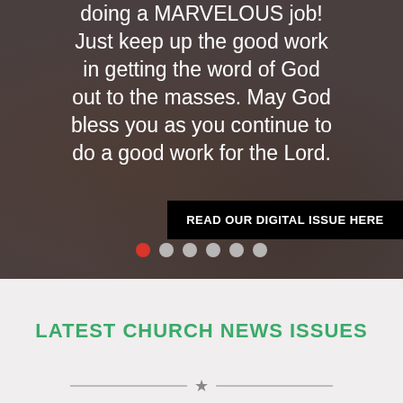doing a MARVELOUS job! Just keep up the good work in getting the word of God out to the masses. May God bless you as you continue to do a good work for the Lord.
READ OUR DIGITAL ISSUE HERE
[Figure (other): Carousel navigation dots: 6 dots, first one red (active), rest grey]
LATEST CHURCH NEWS ISSUES
[Figure (other): Horizontal divider with a star icon in the center]